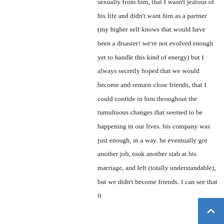sexually from him, that I wasn't jealous of his life and didn't want him as a partner (my higher self knows that would have been a disaster! we're not evolved enough yet to handle this kind of energy) but I always secretly hoped that we would become and remain close friends, that I could confide in him throughout the tumultuous changes that seemed to be happening in our lives. his company was just enough, in a way. he eventually got another job, took another stab at his marriage, and left (totally understandable), but we didn't become friends. I can see that it